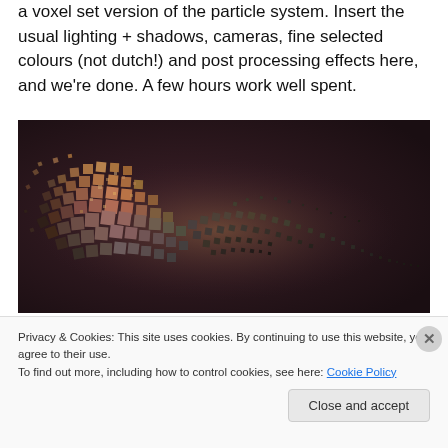a voxel set version of the particle system. Insert the usual lighting + shadows, cameras, fine selected colours (not dutch!) and post processing effects here, and we're done. A few hours work well spent.
[Figure (photo): Dark artistic render of a 3D voxel/particle system showing metallic cube-shaped particles arranged in a flowing wave or helix formation against a dark brownish-purple background.]
Privacy & Cookies: This site uses cookies. By continuing to use this website, you agree to their use.
To find out more, including how to control cookies, see here: Cookie Policy